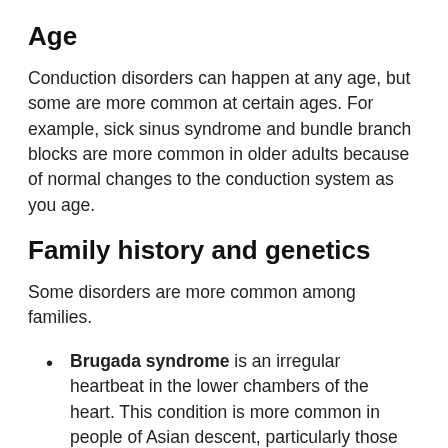Age
Conduction disorders can happen at any age, but some are more common at certain ages. For example, sick sinus syndrome and bundle branch blocks are more common in older adults because of normal changes to the conduction system as you age.
Family history and genetics
Some disorders are more common among families.
Brugada syndrome is an irregular heartbeat in the lower chambers of the heart. This condition is more common in people of Asian descent, particularly those of Japanese, Filipino, and Thai ancestry.
Complete heart block or third-degree AV